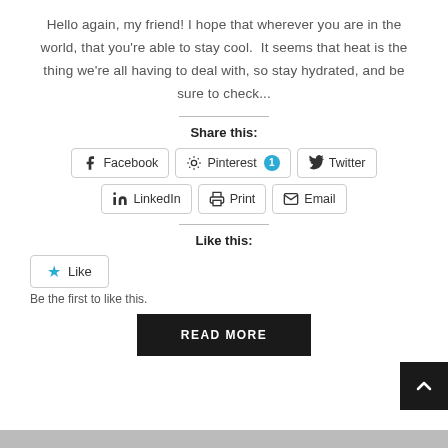Hello again, my friend! I hope that wherever you are in the world, that you're able to stay cool.  It seems that heat is the thing we're all having to deal with, so stay hydrated, and be sure to check...
Share this:
[Figure (infographic): Social share buttons: Facebook, Pinterest (with badge 1), Twitter, LinkedIn, Print, Email]
Like this:
[Figure (infographic): Like widget with star icon and text 'Like'. Below: 'Be the first to like this.']
READ MORE
[Figure (infographic): Scroll-to-top arrow button in bottom right corner]